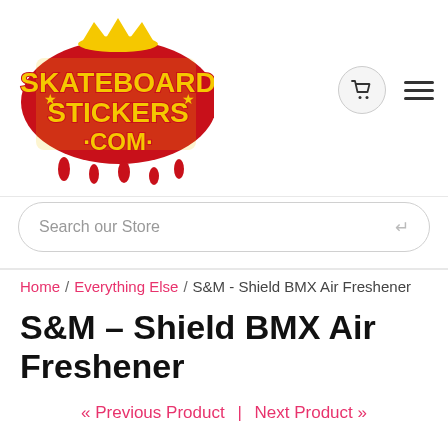[Figure (logo): SkateboardStickers.com graffiti-style logo with yellow text and red drips on a red splatter background, with a crown on top]
Search our Store
Home / Everything Else / S&M - Shield BMX Air Freshener
S&M - Shield BMX Air Freshener
« Previous Product  |  Next Product »